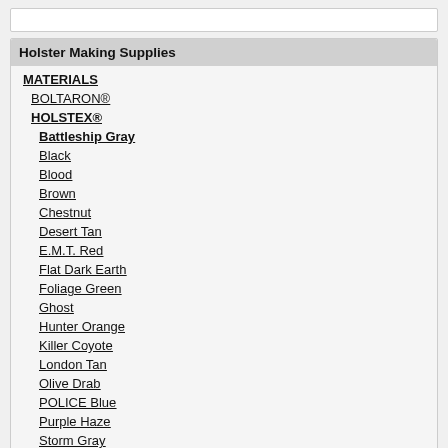Holster Making Supplies
MATERIALS
BOLTARON®
HOLSTEX®
Battleship Gray
Black
Blood
Brown
Chestnut
Desert Tan
E.M.T. Red
Flat Dark Earth
Foliage Green
Ghost
Hunter Orange
Killer Coyote
London Tan
Olive Drab
POLICE Blue
Purple Haze
Storm Gray
Tiffany Blue
Zombie Green
KYDEX®